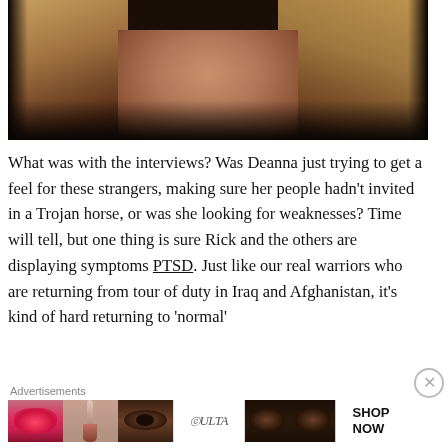[Figure (photo): Close-up photo of a woman with blonde hair wearing a dark jacket, face partially cropped showing neck and lower face area, dark dramatic lighting]
What was with the interviews? Was Deanna just trying to get a feel for these strangers, making sure her people hadn't invited in a Trojan horse, or was she looking for weaknesses? Time will tell, but one thing is sure Rick and the others are displaying symptoms PTSD. Just like our real warriors who are returning from tour of duty in Iraq and Afghanistan, it's kind of hard returning to 'normal'
[Figure (photo): ULTA beauty advertisement banner showing makeup products and eyes]
Advertisements